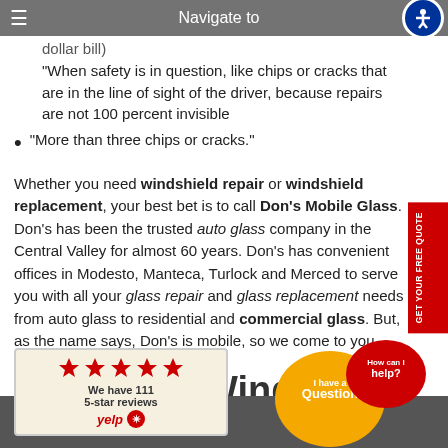Navigate to
"When safety is in question, like chips or cracks that are in the line of sight of the driver, because repairs are not 100 percent invisible
"More than three chips or cracks."
Whether you need windshield repair or windshield replacement, your best bet is to call Don's Mobile Glass. Don's has been the trusted auto glass company in the Central Valley for almost 60 years. Don's has convenient offices in Modesto, Manteca, Turlock and Merced to serve you with all your glass repair and glass replacement needs from auto glass to residential and commercial glass. But, as the name says, Don's is mobile, so we come to you.
Modesto | Windshield Replace... Mobile Glass
[Figure (logo): Yelp badge showing 5 red stars and text 'We have 111 5-star reviews' with Yelp logo]
[Figure (illustration): Chat bubbles with 'I have a Question' orange bubble and 'How can I help?' red bubble]
[Figure (other): Red vertical sidebar button reading 'GET YOUR FREE QUOTE']